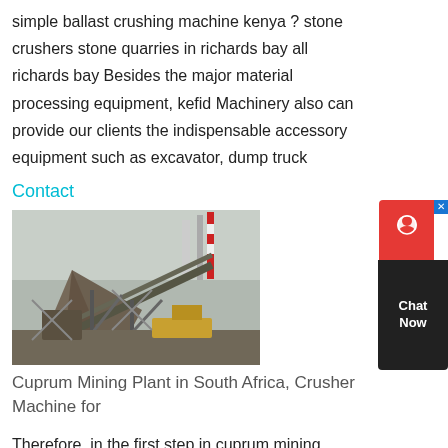simple ballast crushing machine kenya ? stone crushers stone quarries in richards bay all richards bay Besides the major material processing equipment, kefid Machinery also can provide our clients the indispensable accessory equipment such as excavator, dump truck
Contact
[Figure (photo): Aerial view of Cuprum Mining Plant in South Africa showing industrial crusher machinery and conveyor structures with smokestacks in background]
Cuprum Mining Plant in South Africa, Crusher Machine for
Therefore, in the first step in cuprum mining plant in South Africa, the lumpy ore is crushed and milled into fine particles and prepared for further mining operations. C...